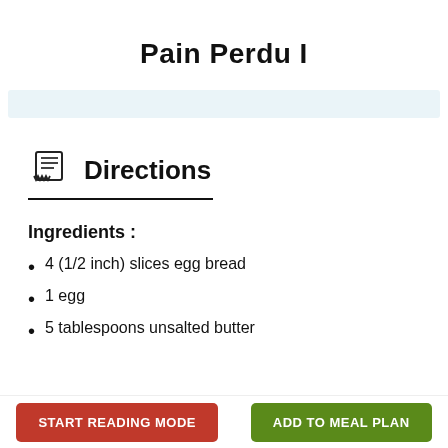Pain Perdu I
[Figure (other): Light blue horizontal bar, decorative UI element]
Directions
Ingredients :
4 (1/2 inch) slices egg bread
1 egg
5 tablespoons unsalted butter
START READING MODE | ADD TO MEAL PLAN